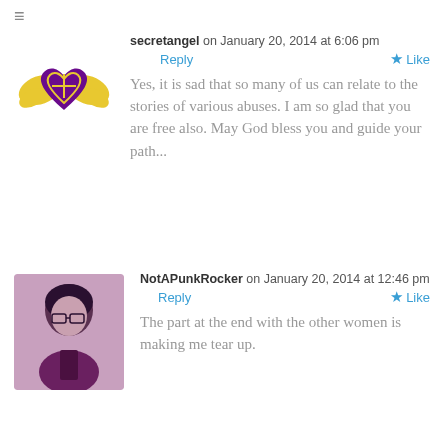≡
secretangel on January 20, 2014 at 6:06 pm
Reply  ★ Like
Yes, it is sad that so many of us can relate to the stories of various abuses. I am so glad that you are free also. May God bless you and guide your path...
NotAPunkRocker on January 20, 2014 at 12:46 pm
Reply  ★ Like
The part at the end with the other women is making me tear up.